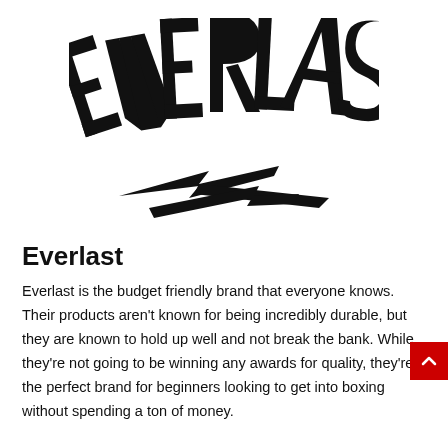[Figure (logo): Everlast brand logo — large bold black uppercase letters 'EVERLAST' in an arched/curved athletic font with a stylized swoosh/wing mark beneath]
Everlast
Everlast is the budget friendly brand that everyone knows. Their products aren't known for being incredibly durable, but they are known to hold up well and not break the bank. While they're not going to be winning any awards for quality, they're the perfect brand for beginners looking to get into boxing without spending a ton of money.